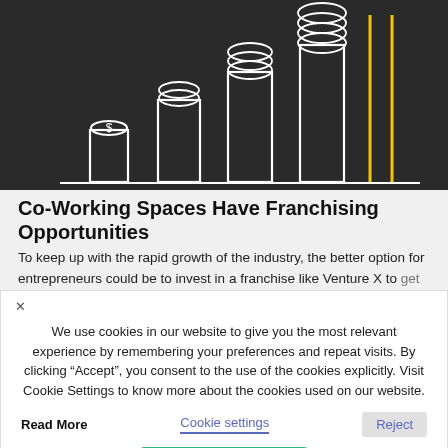[Figure (illustration): Chalk-style illustration on dark background showing a bar chart with increasing coin stacks on top of each bar, representing financial growth. The tallest bars on the right have yellow vertical lines.]
Co-Working Spaces Have Franchising Opportunities
To keep up with the rapid growth of the industry, the better option for entrepreneurs could be to invest in a franchise like Venture X to get a head start on the competition. Co-working space franchises are in high demand right now, which means you will need to your options. Bigger franchisors have built a proven business model to this is a key factor for franchises all around the world. This enables you to open your business faster and make a profit and are businesses from scratch.
We use cookies in our website to give you the most relevant experience by remembering your preferences and repeat visits. By clicking “Accept”, you consent to the use of the cookies explicitly. Visit Cookie Settings to know more about the cookies used on our website.
A Third of All Australians Are Working From Home